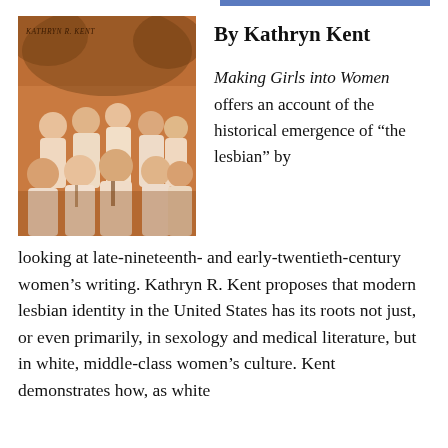[Figure (photo): Sepia-toned book cover photo showing a group of girls/young women in white shirts, with text 'KATHRYN R. KENT' at top left. The cover has an orange-brown tonal style.]
By Kathryn Kent
Making Girls into Women offers an account of the historical emergence of “the lesbian” by looking at late-nineteenth- and early-twentieth-century women’s writing. Kathryn R. Kent proposes that modern lesbian identity in the United States has its roots not just, or even primarily, in sexology and medical literature, but in white, middle-class women’s culture. Kent demonstrates how, as white